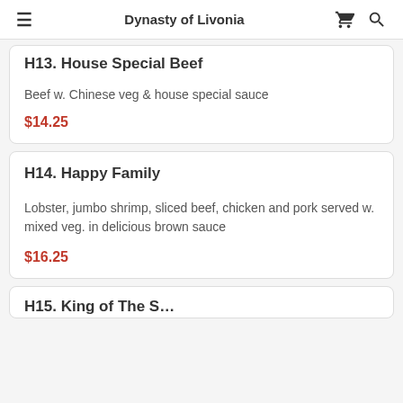Dynasty of Livonia
H13. House Special Beef
Beef w. Chinese veg & house special sauce
$14.25
H14. Happy Family
Lobster, jumbo shrimp, sliced beef, chicken and pork served w. mixed veg. in delicious brown sauce
$16.25
H15. King of The S…